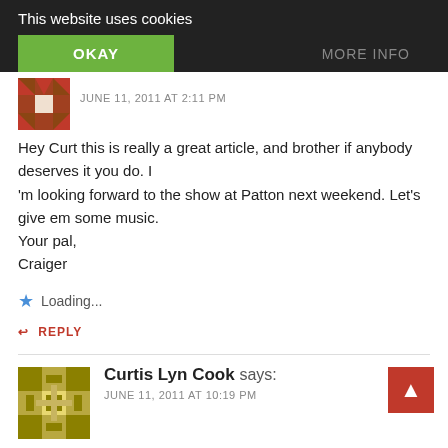This website uses cookies
OKAY
MORE INFO
JUNE 11, 2011 AT 2:11 PM
Hey Curt this is really a great article, and brother if anybody deserves it you do. I 'm looking forward to the show at Patton next weekend. Let's give em some music.
Your pal,
Craiger
Loading...
REPLY
Curtis Lyn Cook says:
JUNE 11, 2011 AT 10:19 PM